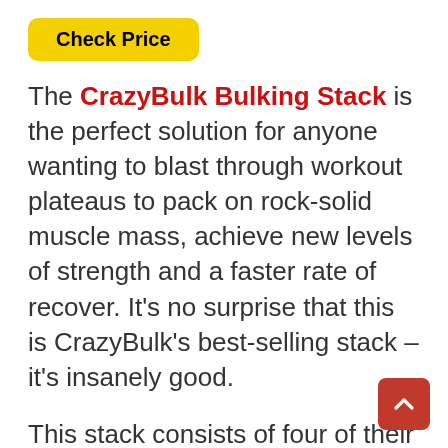Check Price
The CrazyBulk Bulking Stack is the perfect solution for anyone wanting to blast through workout plateaus to pack on rock-solid muscle mass, achieve new levels of strength and a faster rate of recover. It's no surprise that this is CrazyBulk's best-selling stack – it's insanely good.
This stack consists of four of their top-selling bulking supplements that are combined together to create the